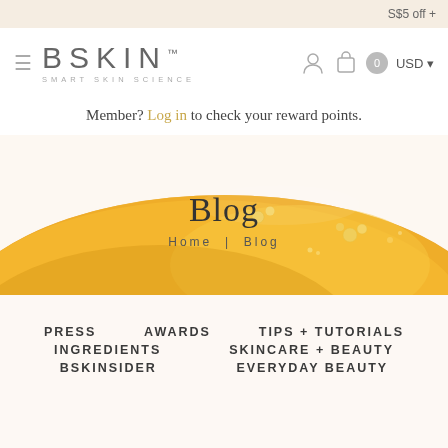S$5 off +
[Figure (logo): BSKIN SMART SKIN SCIENCE logo with hamburger menu icon]
Member? Log in to check your reward points.
[Figure (photo): Golden amber serum/gel smear on white background with gold pearl droplets]
Blog
Home | Blog
PRESS  AWARDS  TIPS + TUTORIALS  INGREDIENTS  SKINCARE + BEAUTY  BSKINSIDER  EVERYDAY BEAUTY